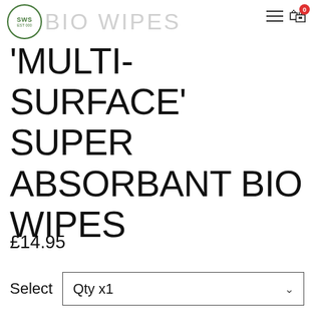BIO WIPES
'MULTI-SURFACE' SUPER ABSORBANT BIO WIPES
£14.95
Select  Qty x1